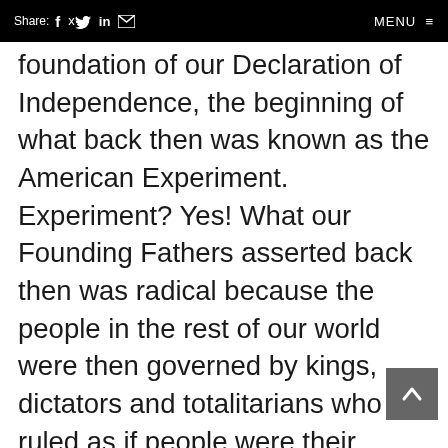Share: f  in [mail]   MENU ≡
foundation of our Declaration of Independence, the beginning of what back then was known as the American Experiment. Experiment? Yes! What our Founding Fathers asserted back then was radical because the people in the rest of our world were then governed by kings, dictators and totalitarians who ruled as if people were their possessions, as if their subjects belonged to them and not to God.

The situation in our world was not
[Figure (other): Back to top arrow button, dark gray square with white upward chevron arrow]